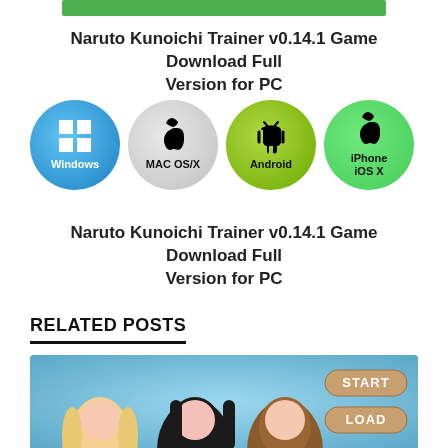[Figure (illustration): Green progress/download bar at top]
Naruto Kunoichi Trainer v0.14.1 Game Download Full Version for PC
[Figure (illustration): Four platform download buttons: Windows (blue circle), MAC OS/X (grey circle), Android (green circle), iPhone iOS X (bright green circle)]
Naruto Kunoichi Trainer v0.14.1 Game Download Full Version for PC
RELATED POSTS
[Figure (screenshot): Anime game screenshot showing three female characters with START and LOAD buttons on a blue/teal background]